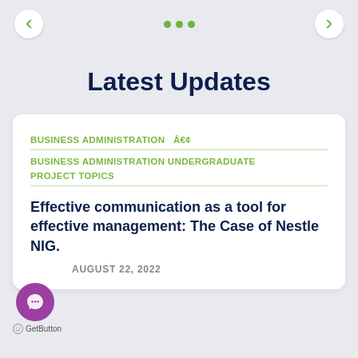← ••• →
Latest Updates
BUSINESS ADMINISTRATION  Â€¢
BUSINESS ADMINISTRATION UNDERGRADUATE PROJECT TOPICS
Effective communication as a tool for effective management: The Case of Nestle NIG.
AUGUST 22, 2022